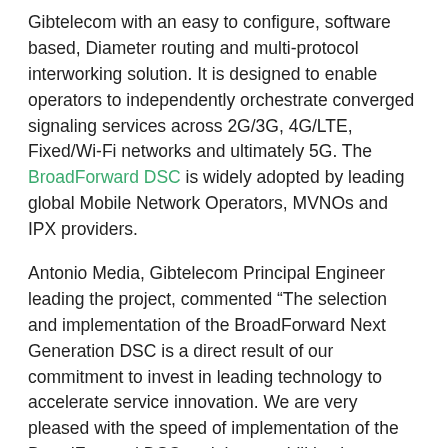Gibtelecom with an easy to configure, software based, Diameter routing and multi-protocol interworking solution. It is designed to enable operators to independently orchestrate converged signaling services across 2G/3G, 4G/LTE, Fixed/Wi-Fi networks and ultimately 5G. The BroadForward DSC is widely adopted by leading global Mobile Network Operators, MVNOs and IPX providers.
Antonio Media, Gibtelecom Principal Engineer leading the project, commented “The selection and implementation of the BroadForward Next Generation DSC is a direct result of our commitment to invest in leading technology to accelerate service innovation. We are very pleased with the speed of implementation of the BroadForward DSC and the capabilities it provides. It makes our network even more robust and it allows us to independently configure advanced signaling scenarios”.
Taco Schoute, CEO BroadForward added “It’s a treat to